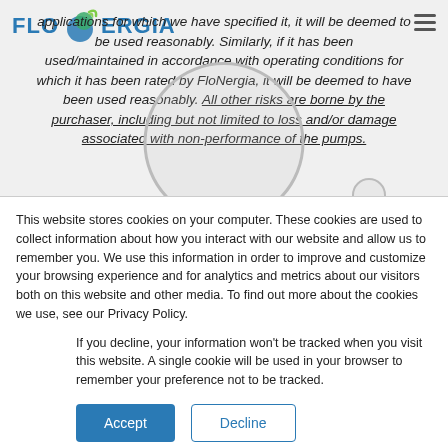[Figure (logo): FloNergia logo with stylized water drop/wave icon in blue and green]
applications for which we have specified it, it will be deemed to be used reasonably. Similarly, if it has been used/maintained in accordance with operating conditions for which it has been rated by FloNergia, it will be deemed to have been used reasonably. All other risks are borne by the purchaser, including but not limited to loss and/or damage associated with non-performance of the pumps.
This website stores cookies on your computer. These cookies are used to collect information about how you interact with our website and allow us to remember you. We use this information in order to improve and customize your browsing experience and for analytics and metrics about our visitors both on this website and other media. To find out more about the cookies we use, see our Privacy Policy.
If you decline, your information won't be tracked when you visit this website. A single cookie will be used in your browser to remember your preference not to be tracked.